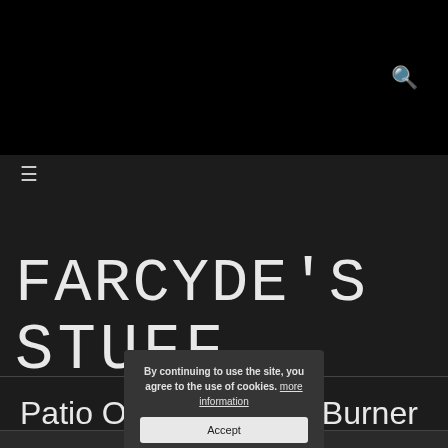🔍
FARCYDE'S STUFF
Patio Oven and Wok Burner from an old Fire Extinguisher (I)
By continuing to use the site, you agree to the use of cookies. more information
Accept